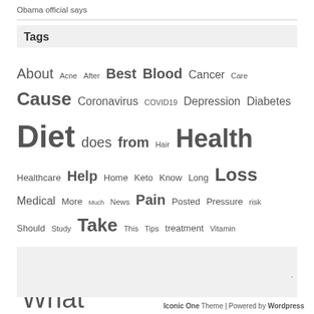Obama official says
Tags
About Acne After Best Blood Cancer Care Cause Coronavirus COVID19 Depression Diabetes Diet does from Hair Health Healthcare Help Home Keto Know Long Loss Medical More Much News Pain Posted Pressure risk Should Study Take This Tips treatment Vitamin Weight when Where with Yoga 'What
enavody.eu, healthclue.eu, duplos.eu
Iconic One Theme | Powered by Wordpress